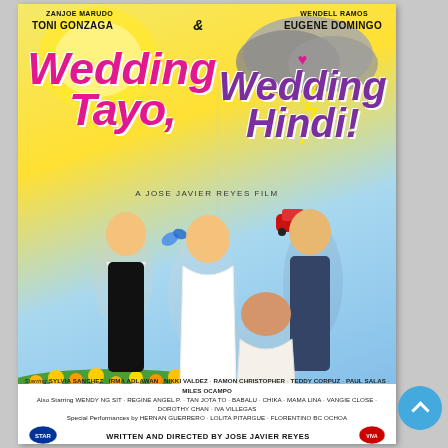[Figure (illustration): Movie poster for 'Wedding Tayo, Wedding Hindi!' featuring actors Zanjoe Marudo, Toni Gonzaga, Wendell Ramos, and Eugene Domingo in wedding attire against a split sunny/stormy sky background. Bottom credits list cast and crew. Directed by Jose Javier Reyes.]